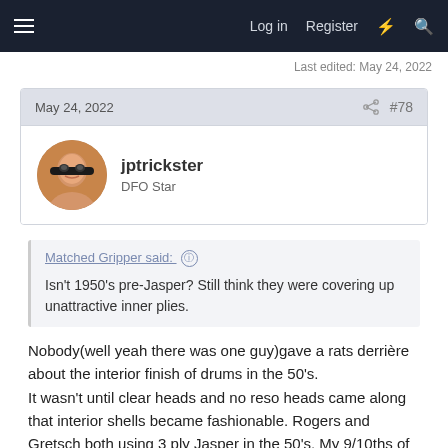Log in  Register
Last edited: May 24, 2022
May 24, 2022  #78
jptrickster
DFO Star
Matched Gripper said:
Isn't 1950's pre-Jasper? Still think they were covering up unattractive inner plies.
Nobody(well yeah there was one guy)gave a rats derrière about the interior finish of drums in the 50's.
It wasn't until clear heads and no reso heads came along that interior shells became fashionable. Rogers and Gretsch both using 3 ply Jasper in the 50's. My 9/10ths of a cent